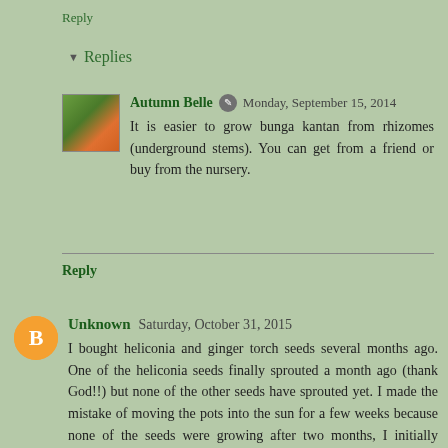Reply
Replies
Autumn Belle  Monday, September 15, 2014
It is easier to grow bunga kantan from rhizomes (underground stems). You can get from a friend or buy from the nursery.
Reply
Unknown  Saturday, October 31, 2015
I bought heliconia and ginger torch seeds several months ago. One of the heliconia seeds finally sprouted a month ago (thank God!!) but none of the other seeds have sprouted yet. I made the mistake of moving the pots into the sun for a few weeks because none of the seeds were growing after two months, I initially thought they needed sun to grow but instead the hot sun worsened everything, it made the soil drier than usual and I had to constantly water...